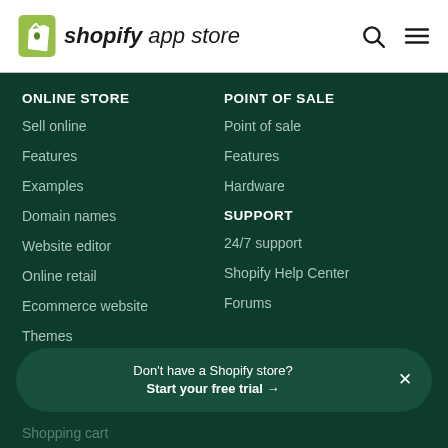shopify app store
ONLINE STORE
Sell online
Features
Examples
Domain names
Website editor
Online retail
Ecommerce website
Themes
Shopping cart
POINT OF SALE
Point of sale
Features
Hardware
SUPPORT
24/7 support
Shopify Help Center
Forums
Don't have a Shopify store? Start your free trial →